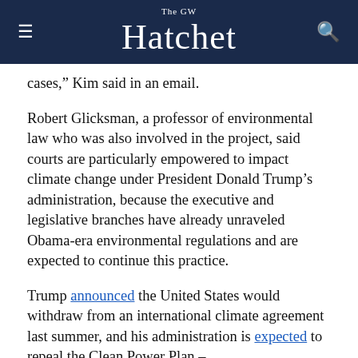The GW Hatchet
cases," Kim said in an email.
Robert Glicksman, a professor of environmental law who was also involved in the project, said courts are particularly empowered to impact climate change under President Donald Trump’s administration, because the executive and legislative branches have already unraveled Obama-era environmental regulations and are expected to continue this practice.
Trump announced the United States would withdraw from an international climate agreement last summer, and his administration is expected to repeal the Clean Power Plan –